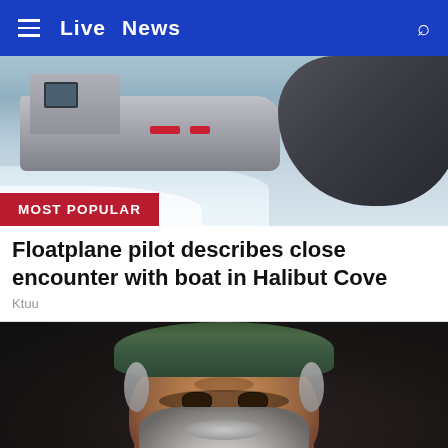Live  News
[Figure (photo): A speedboat or military vessel moving at high speed on water, with white wake/spray visible. A large dark curved object (floatplane hull) visible on the right side. Red 'MOST POPULAR' badge overlaid at bottom left.]
Floatplane pilot describes close encounter with boat in Halibut Cove
Ktuu
[Figure (photo): Close-up portrait of an older man with a grey beard and moustache, wearing a green bandana/headband, against a dark background. The man appears weathered with deep-set eyes.]